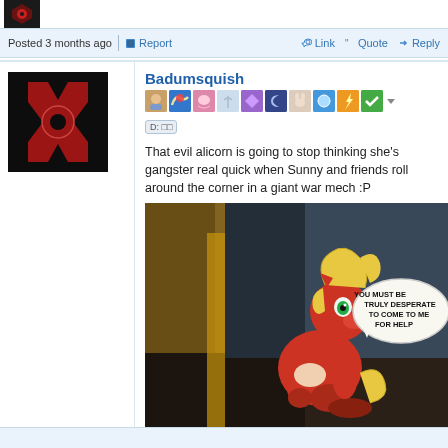Posted 3 months ago | Report | Link | Quote | Reply
Badumsquish
That evil alicorn is going to stop thinking she's gangster real quick when Sunny and friends roll around the corner in a giant war mech :P
[Figure (illustration): Cartoon pony character sitting in a corner with a speech bubble saying YOU MUST BE TRULY DESPERATE TO COME TO ME FOR HELP]